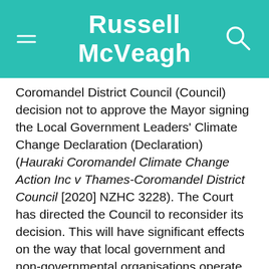Russell McVeagh
Coromandel District Council (Council) decision not to approve the Mayor signing the Local Government Leaders' Climate Change Declaration (Declaration) (Hauraki Coromandel Climate Change Action Inc v Thames-Coromandel District Council [2020] NZHC 3228). The Court has directed the Council to reconsider its decision. This will have significant effects on the way that local government and non-governmental organisations operate when making decisions relating to climate change. In addition, the Court made some interesting observations about the importance of climate change issues in judicial review